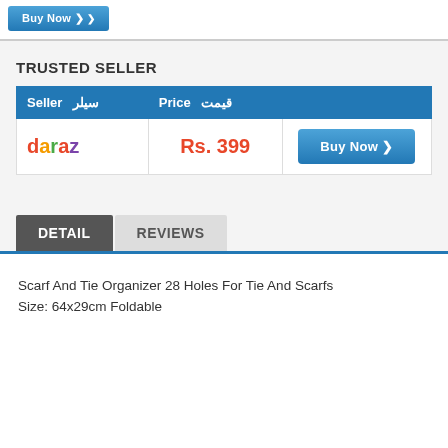[Figure (other): Buy Now button (blue) at top of page]
TRUSTED SELLER
| Seller  سیلر | Price  قیمت |  |
| --- | --- | --- |
| daraz | Rs. 399 | Buy Now ❯ |
DETAIL   REVIEWS
Scarf And Tie Organizer 28 Holes For Tie And Scarfs Size: 64x29cm Foldable